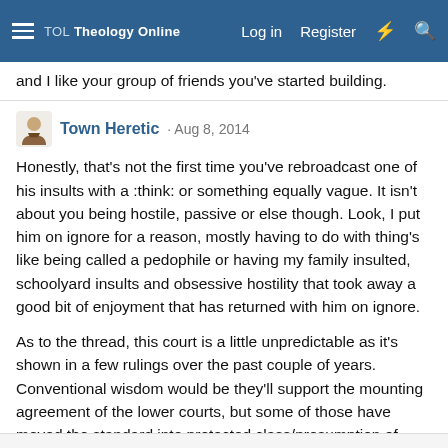TOL Theology Online — Log in  Register
and I like your group of friends you've started building.
Town Heretic · Aug 8, 2014
Honestly, that's not the first time you've rebroadcast one of his insults with a :think: or something equally vague. It isn't about you being hostile, passive or else though. Look, I put him on ignore for a reason, mostly having to do with thing's like being called a pedophile or having my family insulted, schoolyard insults and obsessive hostility that took away a good bit of enjoyment that has returned with him on ignore.
As to the thread, this court is a little unpredictable as it's shown in a few rulings over the past couple of years. Conventional wisdom would be they'll support the mounting agreement of the lower courts, but some of those have moved the standard into protected class/presumption of territory. That's where I think it gets interesting.